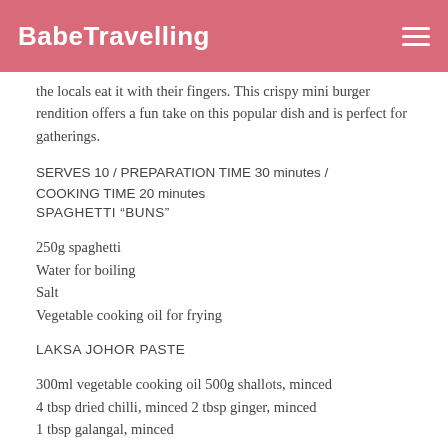BabeTravelling
the locals eat it with their fingers. This crispy mini burger rendition offers a fun take on this popular dish and is perfect for gatherings.
SERVES 10 / PREPARATION TIME 30 minutes / COOKING TIME 20 minutes
SPAGHETTI “BUNS”
250g spaghetti
Water for boiling
Salt
Vegetable cooking oil for frying
LAKSA JOHOR PASTE
300ml vegetable cooking oil 500g shallots, minced 4 tbsp dried chilli, minced 2 tbsp ginger, minced 1 tbsp galangal, minced